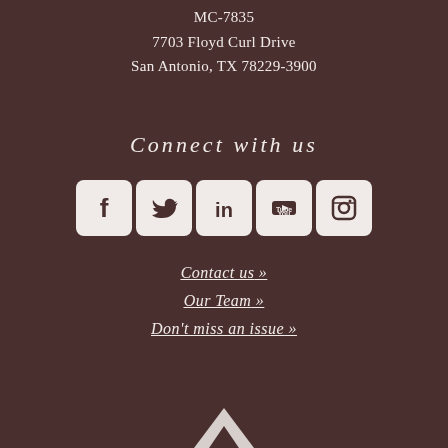MC-7835
7703 Floyd Curl Drive
San Antonio, TX 78229-3900
Connect with us
[Figure (infographic): Row of 5 social media icons: Facebook, Twitter, LinkedIn, YouTube, Instagram — white rounded square buttons on brown background]
Contact us »
Our Team »
Don't miss an issue »
[Figure (logo): Partial white logo / illustration at bottom center of page]